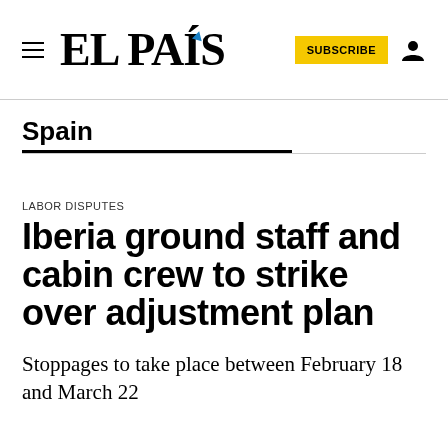EL PAÍS
Spain
LABOR DISPUTES
Iberia ground staff and cabin crew to strike over adjustment plan
Stoppages to take place between February 18 and March 22